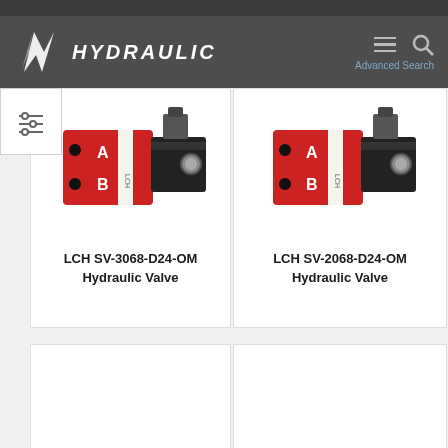HYDRAULIC — Advanced Search
[Figure (photo): LCH SV-3068-D24-OM Hydraulic Valve — red and black solenoid valve with port labels A and B]
LCH SV-3068-D24-OM
Hydraulic Valve
[Figure (photo): LCH SV-2068-D24-OM Hydraulic Valve — red and black solenoid valve with port labels A and B]
LCH SV-2068-D24-OM
Hydraulic Valve